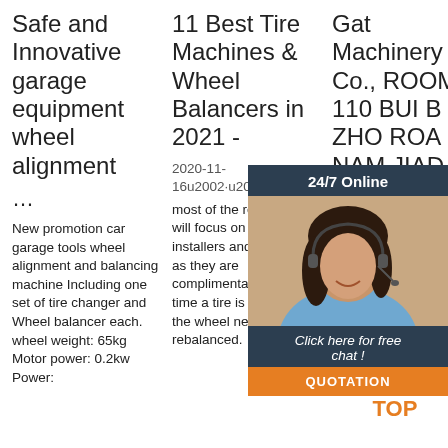Safe and Innovative garage equipment wheel alignment ...
New promotion car garage tools wheel alignment and balancing machine Including one set of tire changer and Wheel balancer each. wheel weight: 65kg Motor power: 0.2kw Power...
11 Best Tire Machines & Wheel Balancers in 2021 -
2020-11-16u2002·u2002Also, most of the reviews here will focus on combo tire installers and balancers as they are complimentary and any time a tire is removed the wheel needs to be rebalanced.
Gat Machinery Co., ROOM 110 BUI B N ZHO ROA NAM JIAD SHA CHINA - Wheel Aligner, Tire Changer
[Figure (infographic): 24/7 Online chat widget with a woman wearing a headset. Includes 'Click here for free chat!' text and orange QUOTATION button.]
[Figure (logo): Orange TOP badge/logo with triangular arrow design]